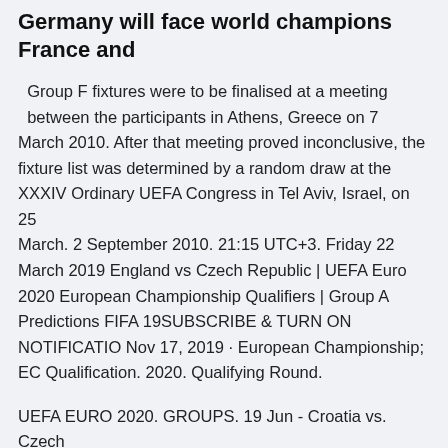Germany will face world champions France and
Group F fixtures were to be finalised at a meeting between the participants in Athens, Greece on 7 March 2010. After that meeting proved inconclusive, the fixture list was determined by a random draw at the XXXIV Ordinary UEFA Congress in Tel Aviv, Israel, on 25 March. 2 September 2010. 21:15 UTC+3. Friday 22 March 2019 England vs Czech Republic | UEFA Euro 2020 European Championship Qualifiers | Group A Predictions FIFA 19SUBSCRIBE & TURN ON NOTIFICATIO Nov 17, 2019 · European Championship; EC Qualification. 2020. Qualifying Round.
UEFA EURO 2020. GROUPS. 19 Jun - Croatia vs. Czech Republic - Hampden Park, Glasgow. 23 Jun - England